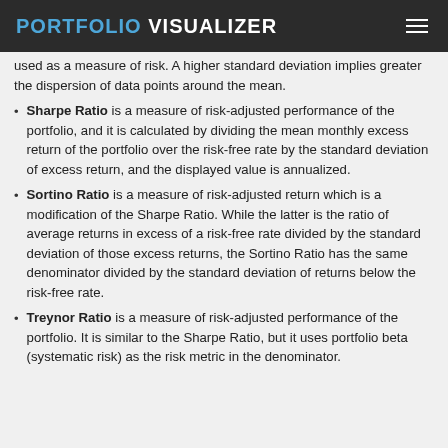PORTFOLIO VISUALIZER
used as a measure of risk. A higher standard deviation implies greater the dispersion of data points around the mean.
Sharpe Ratio is a measure of risk-adjusted performance of the portfolio, and it is calculated by dividing the mean monthly excess return of the portfolio over the risk-free rate by the standard deviation of excess return, and the displayed value is annualized.
Sortino Ratio is a measure of risk-adjusted return which is a modification of the Sharpe Ratio. While the latter is the ratio of average returns in excess of a risk-free rate divided by the standard deviation of those excess returns, the Sortino Ratio has the same denominator divided by the standard deviation of returns below the risk-free rate.
Treynor Ratio is a measure of risk-adjusted performance of the portfolio. It is similar to the Sharpe Ratio, but it uses portfolio beta (systematic risk) as the risk metric in the denominator.